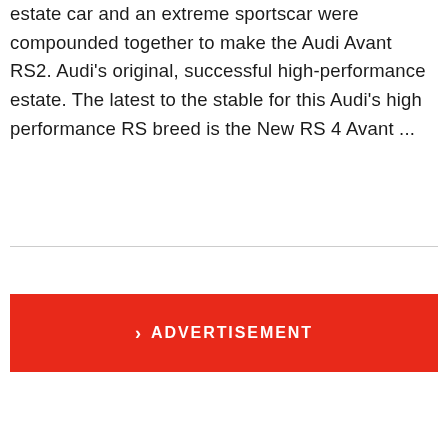estate car and an extreme sportscar were compounded together to make the Audi Avant RS2. Audi's original, successful high-performance estate. The latest to the stable for this Audi's high performance RS breed is the New RS 4 Avant ...
[Figure (other): Red advertisement button with white text reading '> ADVERTISEMENT' in bold uppercase letters]